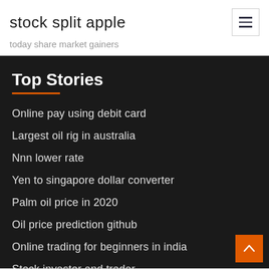stock split apple
today share market gainers
Top Stories
Online pay using debit card
Largest oil rig in australia
Nnn lower rate
Yen to singapore dollar converter
Palm oil price in 2020
Oil price prediction github
Online trading for beginners in india
Stock investor and trader